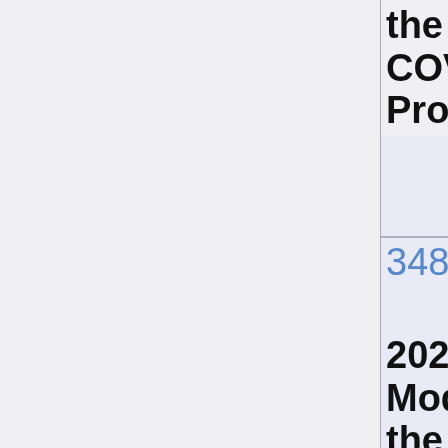the SARS-COV-2 S Protein.
34882862
2022. Modulation the Conformational Space of SARS-CoV-2 RNA Quadruplex